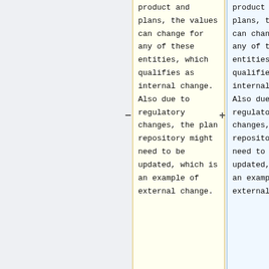product and plans, the values can change for any of these entities, which qualifies as internal change. Also due to regulatory changes, the plan repository might need to be updated, which is an example of external change.
product and plans, the values can change for any of these entities, which qualifies as an internal change. Also due to regulatory changes, the plan repository might need to be updated, which is an example of an external change.